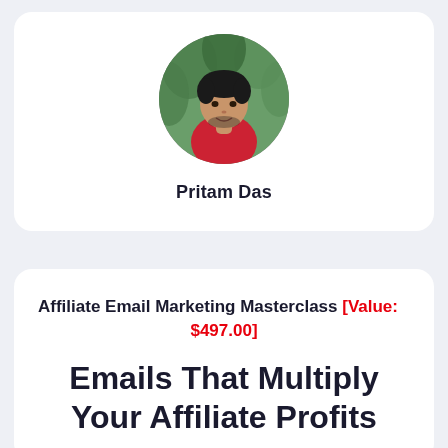[Figure (photo): Circular profile photo of a young man wearing a red t-shirt, with green foliage in the background]
Pritam Das
Affiliate Email Marketing Masterclass [Value: $497.00]
Emails That Multiply Your Affiliate Profits